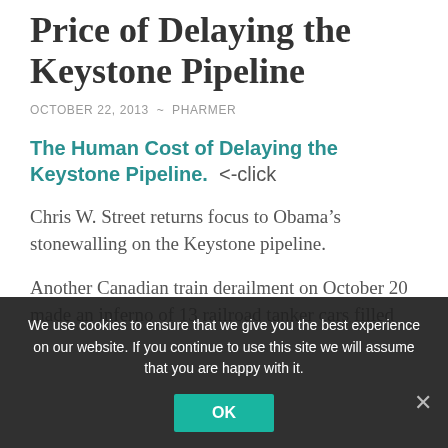Price of Delaying the Keystone Pipeline
OCTOBER 22, 2013  ~  PHARMER
The Human Cost of Delaying the Keystone Pipeline.  <-click
Chris W. Street returns focus to Obama's stonewalling on the Keystone pipeline.
Another Canadian train derailment on October 20 made an inferno of 13 railroad tanker cars filled
We use cookies to ensure that we give you the best experience on our website. If you continue to use this site we will assume that you are happy with it.